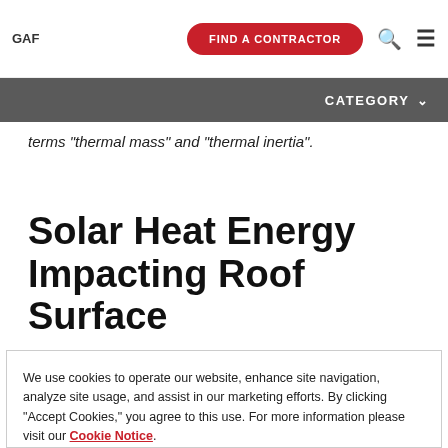GAF | FIND A CONTRACTOR | [search] [menu]
CATEGORY
terms "thermal mass" and "thermal inertia".
Solar Heat Energy Impacting Roof Surface
We use cookies to operate our website, enhance site navigation, analyze site usage, and assist in our marketing efforts. By clicking "Accept Cookies," you agree to this use. For more information please visit our Cookie Notice.
Cookie Preferences | Accept Cookies